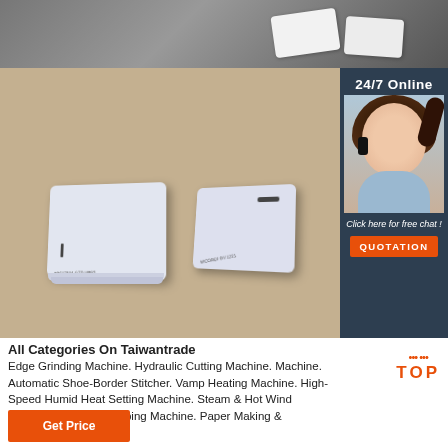[Figure (photo): Top photo showing white plastic cards on dark leather background]
[Figure (photo): Main product photo showing stacked white RFID/NFC card blocks on beige background, with 24/7 Online chat agent sidebar showing female customer service agent with headset, Click here for free chat label, and QUOTATION button]
All Categories On Taiwantrade
Edge Grinding Machine. Hydraulic Cutting Machine. Machine. Automatic Shoe-Border Stitcher. Vamp Heating Machine. High-Speed Humid Heat Setting Machine. Steam & Hot Wind Pressing Machine. Tripping Machine. Paper Making & Converting Machinery.
[Figure (logo): TOP badge with orange dots and orange bold text]
Get Price